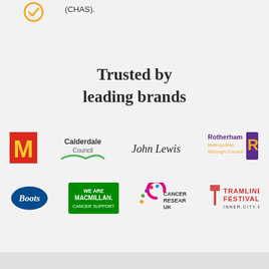(CHAS).
Trusted by leading brands
[Figure (logo): Logos of trusted brands: McDonald's, Calderdale Council, John Lewis, Rotherham Metropolitan Borough Council, Boots, We Are Macmillan Cancer Support, Cancer Research UK, Tramlines Festival Inner City Music]